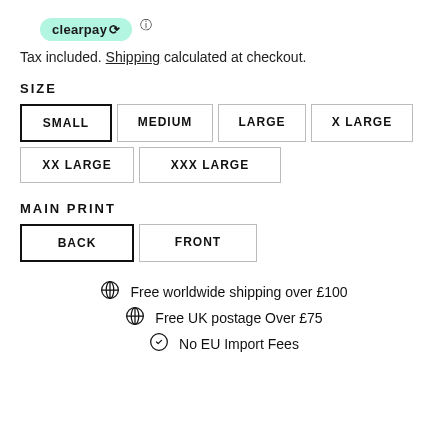[Figure (logo): Clearpay logo badge with arrow icon and info icon]
Tax included. Shipping calculated at checkout.
SIZE
SMALL | MEDIUM | LARGE | X LARGE | XX LARGE | XXX LARGE (size selector buttons)
MAIN PRINT
BACK | FRONT (print selector buttons)
Free worldwide shipping over £100
Free UK postage Over £75
No EU Import Fees